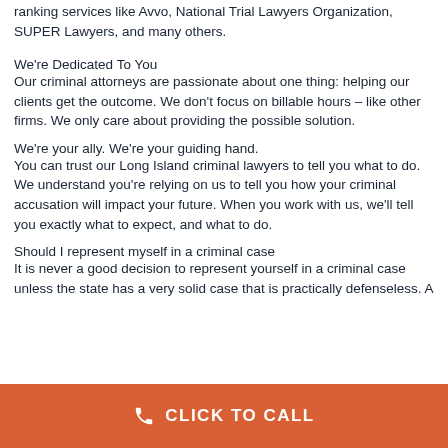ranking services like Avvo, National Trial Lawyers Organization, SUPER Lawyers, and many others.
We're Dedicated To You
Our criminal attorneys are passionate about one thing: helping our clients get the outcome. We don't focus on billable hours – like other firms. We only care about providing the possible solution.
We're your ally. We're your guiding hand.
You can trust our Long Island criminal lawyers to tell you what to do. We understand you're relying on us to tell you how your criminal accusation will impact your future. When you work with us, we'll tell you exactly what to expect, and what to do.
Should I represent myself in a criminal case
It is never a good decision to represent yourself in a criminal case unless the state has a very solid case that is practically defenseless. A
CLICK TO CALL